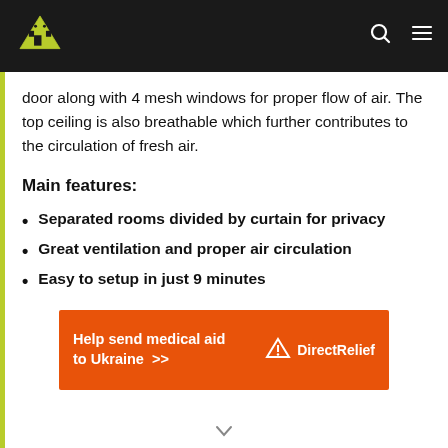Site logo, search icon, menu icon navigation bar
door along with 4 mesh windows for proper flow of air. The top ceiling is also breathable which further contributes to the circulation of fresh air.
Main features:
Separated rooms divided by curtain for privacy
Great ventilation and proper air circulation
Easy to setup in just 9 minutes
[Figure (infographic): Orange Direct Relief advertisement banner: 'Help send medical aid to Ukraine >>' with Direct Relief logo]